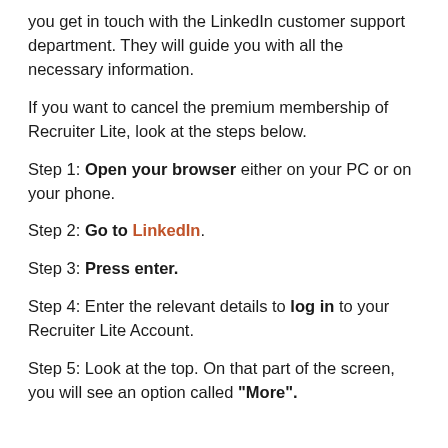you get in touch with the LinkedIn customer support department. They will guide you with all the necessary information.
If you want to cancel the premium membership of Recruiter Lite, look at the steps below.
Step 1: Open your browser either on your PC or on your phone.
Step 2: Go to LinkedIn.
Step 3: Press enter.
Step 4: Enter the relevant details to log in to your Recruiter Lite Account.
Step 5: Look at the top. On that part of the screen, you will see an option called "More".